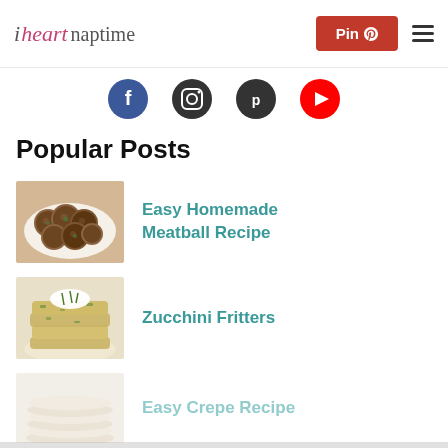i heart naptime | Pin | menu
[Figure (screenshot): Partial view of social media icon buttons (Facebook, Instagram, Pinterest, YouTube) cropped at top]
Popular Posts
[Figure (photo): Photo of homemade meatballs on a white plate with green herb garnish]
Easy Homemade Meatball Recipe
[Figure (photo): Photo of stacked zucchini fritters with sour cream on top on a white plate]
Zucchini Fritters
[Figure (photo): Partially visible photo of stacked crepes on a plate]
Easy Crepe Recipe